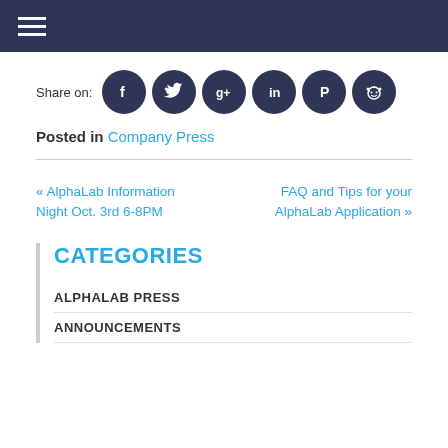Navigation menu
Share on: [Facebook] [Twitter] [Google+] [LinkedIn] [Pinterest] [Reddit]
Posted in Company Press
« AlphaLab Information Night Oct. 3rd 6-8PM
FAQ and Tips for your AlphaLab Application »
CATEGORIES
ALPHALAB PRESS
ANNOUNCEMENTS